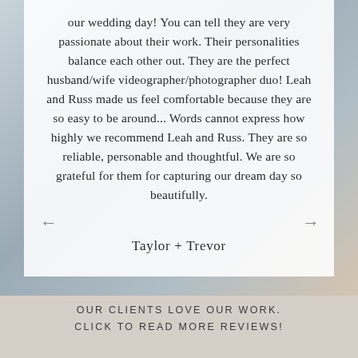[Figure (photo): Blurred background photo of wedding rings on a soft blue-grey surface, with a gold band visible on the right side]
our wedding day! You can tell they are very passionate about their work. Their personalities balance each other out. They are the perfect husband/wife videographer/photographer duo! Leah and Russ made us feel comfortable because they are so easy to be around... Words cannot express how highly we recommend Leah and Russ. They are so reliable, personable and thoughtful. We are so grateful for them for capturing our dream day so beautifully.
Taylor + Trevor
OUR CLIENTS LOVE OUR WORK. CLICK TO READ MORE REVIEWS!